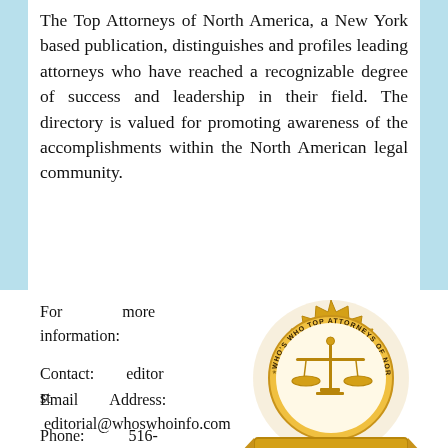The Top Attorneys of North America, a New York based publication, distinguishes and profiles leading attorneys who have reached a recognizable degree of success and leadership in their field. The directory is valued for promoting awareness of the accomplishments within the North American legal community.
For more information:
Contact: editor st
Phone: 516-409-2127 ext. 100
[Figure (logo): Gold certified seal for Who's Who Top Attorneys of North America, featuring scales of justice and the word CERTIFIED on a banner]
Email Address: editorial@whoswhoinfo.com